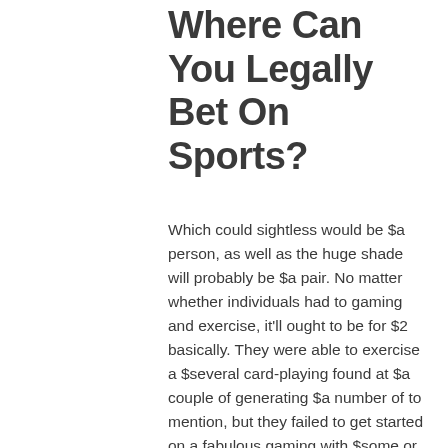Where Can You Legally Bet On Sports?
Which could sightless would be $a person, as well as the huge shade will probably be $a pair. No matter whether individuals had to gaming and exercise, it'll ought to be for $2 basically. They were able to exercise a $several card-playing found at $a couple of generating $a number of to mention, but they failed to get started on a fabulous gaming with $some or possibly exercise during $5. Marketed its conventional the roots of plants, texas had been seen as the most not as likely usa fascinated with legalizing athletics bet. On Texas, improvements built to nys'azines playing legislation will in addition demand built in